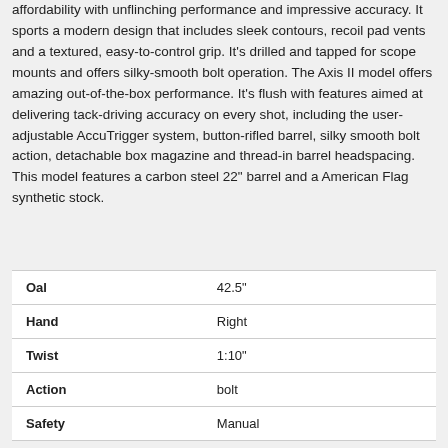affordability with unflinching performance and impressive accuracy. It sports a modern design that includes sleek contours, recoil pad vents and a textured, easy-to-control grip. It's drilled and tapped for scope mounts and offers silky-smooth bolt operation. The Axis II model offers amazing out-of-the-box performance. It's flush with features aimed at delivering tack-driving accuracy on every shot, including the user-adjustable AccuTrigger system, button-rifled barrel, silky smooth bolt action, detachable box magazine and thread-in barrel headspacing. This model features a carbon steel 22" barrel and a American Flag synthetic stock.
| Property | Value |
| --- | --- |
| Oal | 42.5" |
| Hand | Right |
| Twist | 1:10" |
| Action | bolt |
| Safety | Manual |